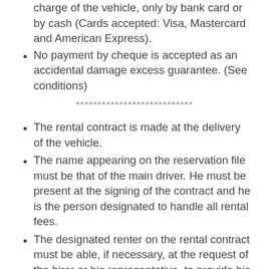charge of the vehicle, only by bank card or by cash (Cards accepted: Visa, Mastercard and American Express).
No payment by cheque is accepted as an accidental damage excess guarantee. (See conditions)
***************************
The rental contract is made at the delivery of the vehicle.
The name appearing on the reservation file must be that of the main driver. He must be present at the signing of the contract and he is the person designated to handle all rental fees.
The designated renter on the rental contract must be able, if necessary, at the request of the hirer or his representative, to provide his personal information (passport, identity card or any other documents proving the authenticity of his personal information).